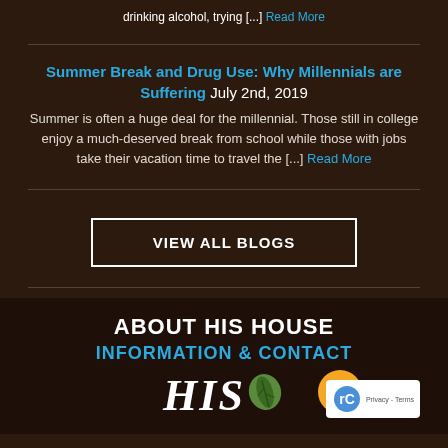drinking alcohol, trying [...] Read More
Summer Break and Drug Use: Why Millennials are Suffering July 2nd, 2019
Summer is often a huge deal for the millennial. Those still in college enjoy a much-deserved break from school while those with jobs take their vacation time to travel the [...] Read More
VIEW ALL BLOGS
ABOUT HIS HOUSE
INFORMATION & CONTACT
[Figure (logo): His House logo with stylized text and leaf graphic]